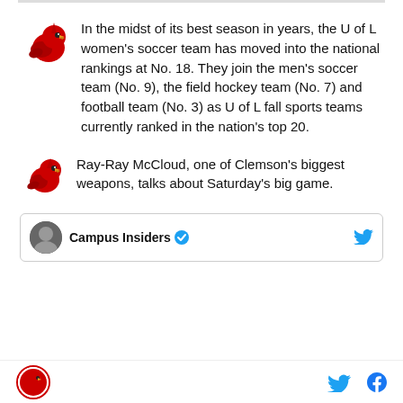In the midst of its best season in years, the U of L women's soccer team has moved into the national rankings at No. 18. They join the men's soccer team (No. 9), the field hockey team (No. 7) and football team (No. 3) as U of L fall sports teams currently ranked in the nation's top 20.
Ray-Ray McCloud, one of Clemson's biggest weapons, talks about Saturday's big game.
Campus Insiders